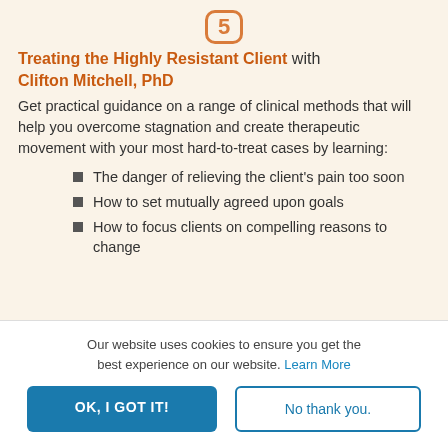[Figure (other): Icon showing number 5 in an orange rounded rectangle border]
Treating the Highly Resistant Client with Clifton Mitchell, PhD
Get practical guidance on a range of clinical methods that will help you overcome stagnation and create therapeutic movement with your most hard-to-treat cases by learning:
The danger of relieving the client's pain too soon
How to set mutually agreed upon goals
How to focus clients on compelling reasons to change
Our website uses cookies to ensure you get the best experience on our website. Learn More
OK, I GOT IT!
No thank you.